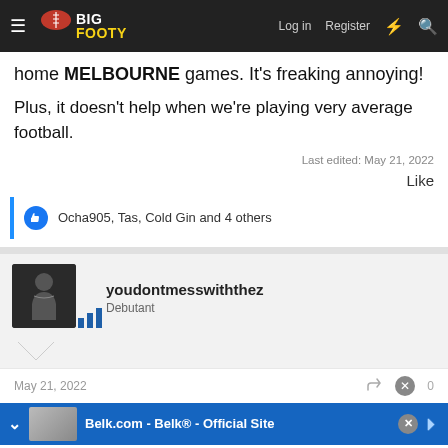BigFooty - Log in Register
home MELBOURNE games. It's freaking annoying!
Plus, it doesn't help when we're playing very average football.
Last edited: May 21, 2022
Like
Ocha905, Tas, Cold Gin and 4 others
youdontmesswiththez
Debutant
May 21, 2022
Belk.com - Belk® - Official Site